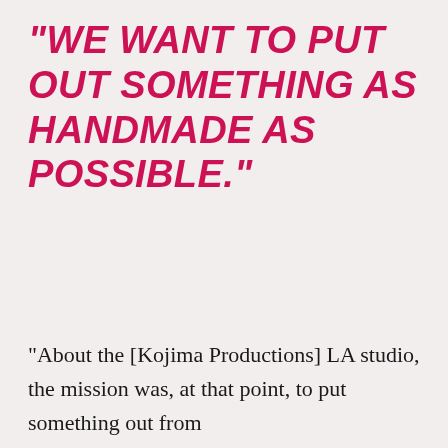"WE WANT TO PUT OUT SOMETHING AS HANDMADE AS POSSIBLE."
"About the [Kojima Productions] LA studio, the mission was, at that point, to put something out from